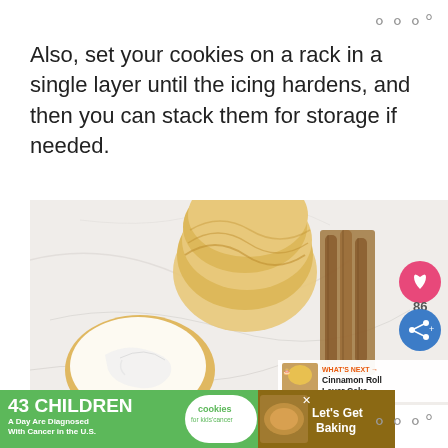mmm°
Also, set your cookies on a rack in a single layer until the icing hardens, and then you can stack them for storage if needed.
[Figure (photo): Overhead photo of cinnamon roll sugar cookies on a marble surface. A stack of plain cookies is visible at the top, and a single cookie topped with white icing is in the foreground. Cinnamon sticks rest on a small wooden board to the right. A pink heart button and blue share button overlay the right side of the image (86 likes). A 'What's Next → Cinnamon Roll Layer Cake' banner appears at the bottom right.]
[Figure (infographic): Advertisement banner: '43 CHILDREN A Day Are Diagnosed With Cancer in the U.S.' with a Cookies for Kids' Cancer logo and a 'Let's Get Baking' call-to-action on a brown cookie background.]
mmm°